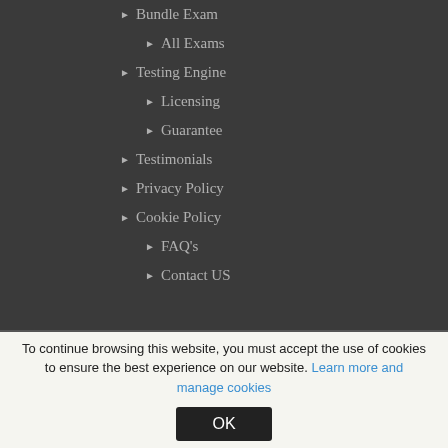▶ Bundle Exam
▶ All Exams
▶ Testing Engine
▶ Licensing
▶ Guarantee
▶ Testimonials
▶ Privacy Policy
▶ Cookie Policy
▶ FAQ's
▶ Contact US
To continue browsing this website, you must accept the use of cookies to ensure the best experience on our website. Learn more and manage cookies
OK